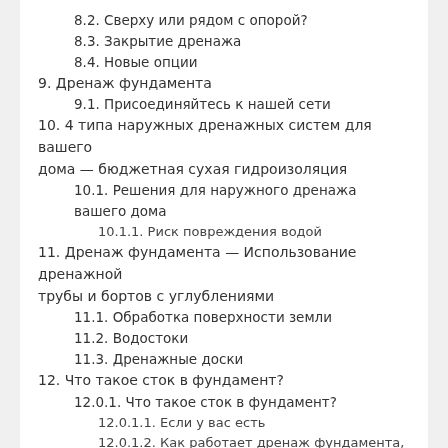8.2. Сверху или рядом с опорой?
8.3. Закрытие дренажа
8.4. Новые опции
9. Дренаж фундамента
9.1. Присоединяйтесь к нашей сети
10. 4 типа наружных дренажных систем для вашего дома — бюджетная сухая гидроизоляция
10.1. Решения для наружного дренажа вашего дома
10.1.1. Риск повреждения водой
11. Дренаж фундамента — Использование дренажной трубы и бортов с углублениями
11.1. Обработка поверхности земли
11.2. Водостоки
11.3. Дренажные доски
12. Что такое сток в фундамент?
12.0.1. Что такое сток в фундамент?
12.0.1.1. Если у вас есть
12.0.1.2. Как работает дренаж фундамента, соединенный с боковой стенкой
12.0.1.3. Как работает слив фундамента, подключенный к отстойнику
12.0.2. Водосливные насосы
12.0.2.1. ЗАПРЕЩАЕТСЯ